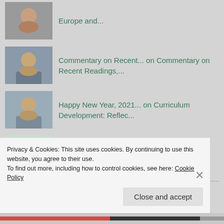Europe and...
Commentary on Recent... on Commentary on Recent Readings,...
Happy New Year, 2021... on Curriculum Development: Reflec...
Tresa Ulderich on Curriculum Development: Reflec...
ARCHIVES
June 2022
Privacy & Cookies: This site uses cookies. By continuing to use this website, you agree to their use.
To find out more, including how to control cookies, see here: Cookie Policy
Close and accept